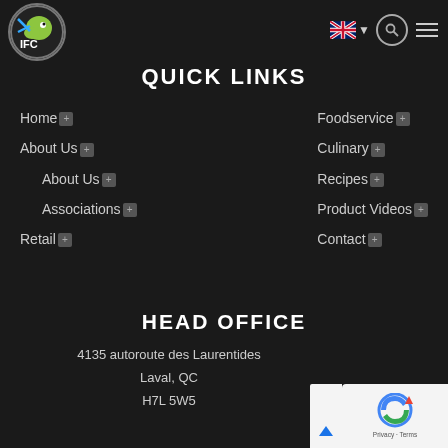[Figure (logo): IFC logo with fish icon in circular badge, top left]
IFC website header with logo, UK flag language selector, search icon, and hamburger menu
QUICK LINKS
Home +
Foodservice +
About Us +
Culinary +
About Us +
Recipes +
Associations +
Product Videos +
Retail +
Contact +
HEAD OFFICE
4135 autoroute des Laurentides
Laval, QC
H7L 5W5
[Figure (logo): Google reCAPTCHA badge, bottom right corner]